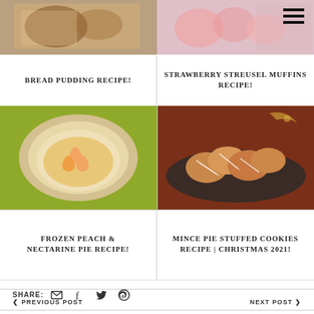[Figure (photo): Top left photo of bread pudding dessert, brownish tones]
[Figure (photo): Top right photo of strawberry streusel muffins, pink tones, hamburger menu icon overlay]
BREAD PUDDING RECIPE!
STRAWBERRY STREUSEL MUFFINS RECIPE!
[Figure (photo): Frozen peach and nectarine pie on green background, top-down view]
[Figure (photo): Mince pie stuffed cookies on dark plate, Christmas decoration, dark reddish-brown background]
FROZEN PEACH & NECTARINE PIE RECIPE!
MINCE PIE STUFFED COOKIES RECIPE | CHRISTMAS 2021!
SHARE:
< PREVIOUS POST    NEXT POST >